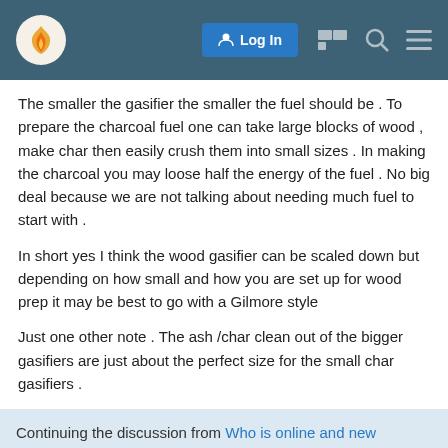Log In [navigation icons]
The smaller the gasifier the smaller the fuel should be . To prepare the charcoal fuel one can take large blocks of wood , make char then easily crush them into small sizes . In making the charcoal you may loose half the energy of the fuel . No big deal because we are not talking about needing much fuel to start with .
In short yes I think the wood gasifier can be scaled down but depending on how small and how you are set up for wood prep it may be best to go with a Gilmore style
Just one other note . The ash /char clean out of the bigger gasifiers are just about the perfect size for the small char gasifiers .
Continuing the discussion from Who is online and new member section:
Who is online and new member sec
1 / 20